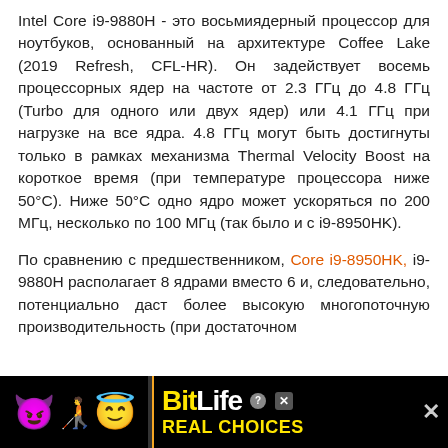Intel Core i9-9880H - это восьмиядерный процессор для ноутбуков, основанный на архитектуре Coffee Lake (2019 Refresh, CFL-HR). Он задействует восемь процессорных ядер на частоте от 2.3 ГГц до 4.8 ГГц (Turbo для одного или двух ядер) или 4.1 ГГц при нагрузке на все ядра. 4.8 ГГц могут быть достигнуты только в рамках механизма Thermal Velocity Boost на короткое время (при температуре процессора ниже 50°C). Ниже 50°C одно ядро может ускоряться по 200 МГц, несколько по 100 МГц (так было и с i9-8950HK).
По сравнению с предшественником, Core i9-8950HK, i9-9880H располагает 8 ядрами вместо 6 и, следовательно, потенциально даст более высокую многопоточную производительность (при достаточном охлаждении). Вместе с тем,
[Figure (other): Advertisement banner for BitLife game. Black background with cartoon emojis (devil, person with weapons, angel with halo) on the left. BitLife logo with yellow 'Bit' and white 'Life' text, question mark badge, and red X close button. 'REAL CHOICES' text in yellow below logo. Close X button on the right.]